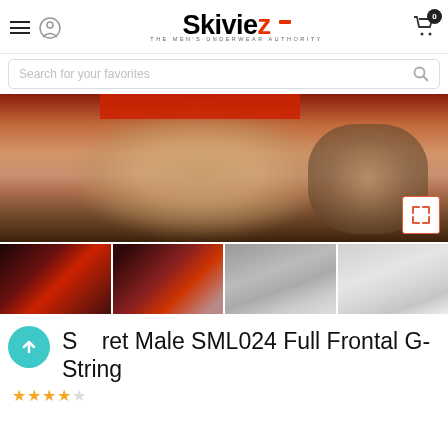Skiviez - The Men's Underwear Authority
[Figure (screenshot): Search bar with placeholder text 'Search for your favorites' and a search icon]
[Figure (photo): Main product photo showing a man wearing a red g-string underwear, close-up torso shot with an expand icon overlay, and four thumbnail images below showing different views and colors of the product]
Secret Male SML024 Full Frontal G-String